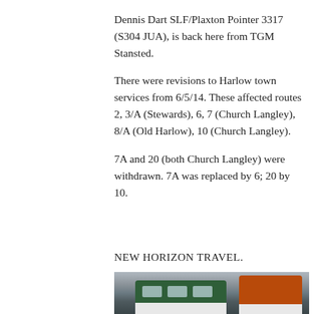Dennis Dart SLF/Plaxton Pointer 3317 (S304 JUA), is back here from TGM Stansted.
There were revisions to Harlow town services from 6/5/14. These affected routes 2, 3/A (Stewards), 6, 7 (Church Langley), 8/A (Old Harlow), 10 (Church Langley).
7A and 20 (both Church Langley) were withdrawn. 7A was replaced by 6; 20 by 10.
NEW HORIZON TRAVEL.
[Figure (photo): Photograph of buses, showing green double-decker and orange bus with white stripe, taken from low angle against a grey cloudy sky.]